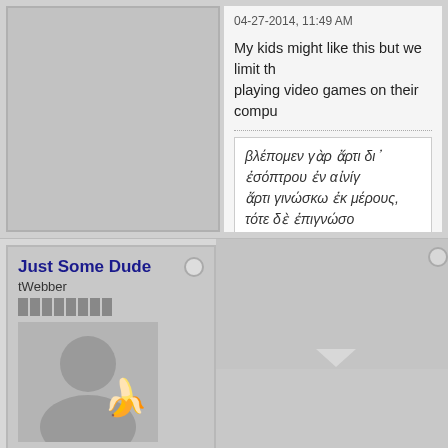[Figure (photo): Gray avatar placeholder image on left side of top post]
04-27-2014, 11:49 AM
My kids might like this but we limit the playing video games on their compu...
βλέπομεν γὰρ ἄρτι δι᾽ ἐσόπτρου ἐν αἰνίγ... ἄρτι γινώσκω ἐκ μέρους, τότε δὲ ἐπιγνώσο...
[Figure (photo): Gray silhouette avatar for Just Some Dude]
Just Some Dude
tWebber
Join Date: Jan 2014    Posts: 189
Location: Southern U.S.
Faith: Christian
Amens Received: 0
Amens Given: 0
04-27-2014, 08:03 PM
I may take you up on the offer some...